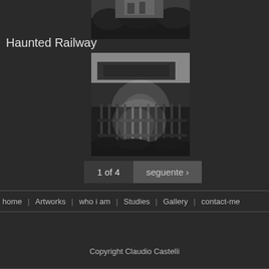[Figure (photo): Black and white vintage photograph of a building partially obscured by dense foliage/hedge, top portion only visible]
Haunted Railway
[Figure (photo): Black and white vintage photograph showing a ghostly/blurry image of a fence or gate area with mist or blur suggesting paranormal activity]
1 of 4
seguente ›
home | Artworks | who i am | Studies | Gallery | contact-me
Copyright Claudio Castelli